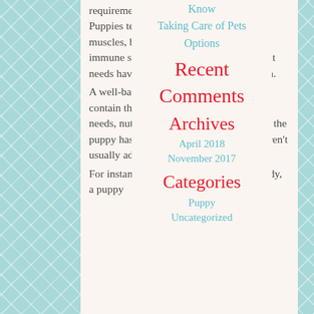requirements of young and growing dogs. Puppies tend to develop rapidly in their muscles, bones, joints, internal organs, immune system etc. All these development needs have to be met with proper nutrition.
A well-balanced diet for a puppy should contain those nutrients that young dogs needs, nutrients that aren't necessary once the puppy has grown into a mature dog and aren't usually added to adult dog foods.
For instance, in order to build a strong body, a puppy
Know
Taking Care of Pets
Options
Recent Comments
Archives
April 2018
November 2017
Categories
Puppy
Uncategorized